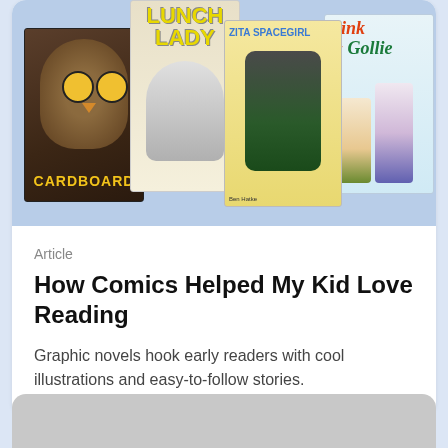[Figure (illustration): Four children's book covers arranged overlapping: Cardboard (owl graphic novel), Lunch Lady, Zita the Spacegirl, and Bink & Gollie]
Article
How Comics Helped My Kid Love Reading
Graphic novels hook early readers with cool illustrations and easy-to-follow stories.